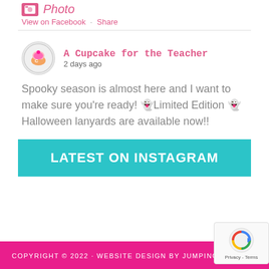Photo
View on Facebook · Share
A Cupcake for the Teacher
2 days ago
Spooky season is almost here and I want to make sure you're ready! 👻Limited Edition 👻 Halloween lanyards are available now!!
LATEST ON INSTAGRAM
COPYRIGHT © 2022 · WEBSITE DESIGN BY JUMPING DESIGNS